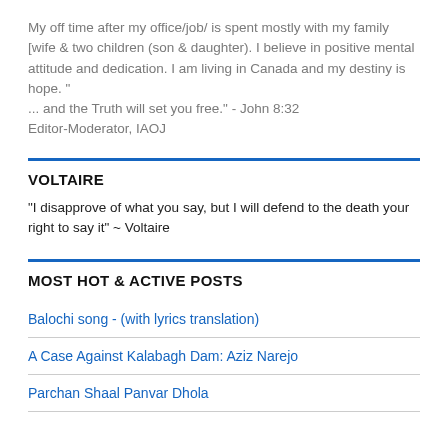My off time after my office/job/ is spent mostly with my family [wife & two children (son & daughter). I believe in positive mental attitude and dedication. I am living in Canada and my destiny is hope. " ... and the Truth will set you free." - John 8:32 Editor-Moderator, IAOJ
VOLTAIRE
"I disapprove of what you say, but I will defend to the death your right to say it" ~ Voltaire
MOST HOT & ACTIVE POSTS
Balochi song - (with lyrics translation)
A Case Against Kalabagh Dam: Aziz Narejo
Parchan Shaal Panvar Dhola